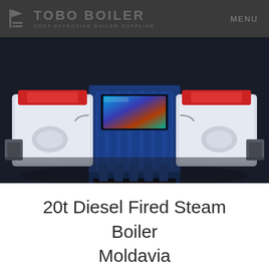TOBO BOILER — COST-EFFECTIVE BOILER SUPPLIER | MENU
[Figure (photo): Close-up product photo of a 20-ton diesel fired steam boiler unit. The boiler is shown from the front, featuring a large blue frame/chassis structure in the center with white components on the left and right sides (burner assemblies with red accents). A colorful control panel or display screen is visible in the upper center area. The background is very dark navy/black.]
20t Diesel Fired Steam Boiler Moldavia